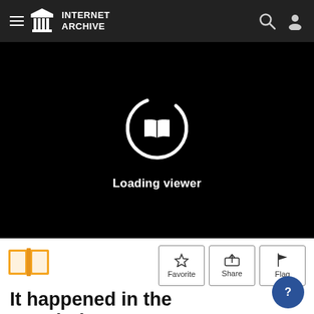INTERNET ARCHIVE
[Figure (screenshot): Internet Archive book viewer loading screen showing a circular loading spinner with an open book icon in the center on a black background, with 'Loading viewer' text below]
Loading viewer
[Figure (illustration): Orange open book icon]
Favorite  Share  Flag
It happened in the Revolutionary War